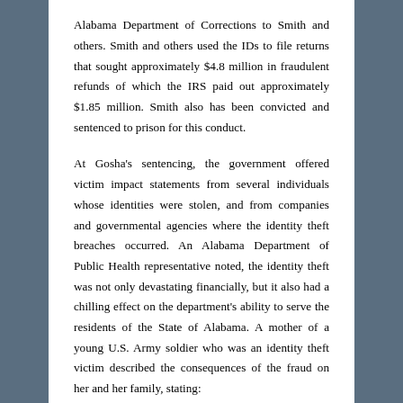Alabama Department of Corrections to Smith and others. Smith and others used the IDs to file returns that sought approximately $4.8 million in fraudulent refunds of which the IRS paid out approximately $1.85 million. Smith also has been convicted and sentenced to prison for this conduct.
At Gosha's sentencing, the government offered victim impact statements from several individuals whose identities were stolen, and from companies and governmental agencies where the identity theft breaches occurred. An Alabama Department of Public Health representative noted, the identity theft was not only devastating financially, but it also had a chilling effect on the department's ability to serve the residents of the State of Alabama. A mother of a young U.S. Army soldier who was an identity theft victim described the consequences of the fraud on her and her family, stating:
While [my son] was fighting for our country and all back home[,] I received a very disturbing phone call from [an] Agent [] from the IRS that my son[,] while at Ft. Benning training to defend our country[,] the land of the free[,] had his identity stolen and fraudulent tax returns were filed with his social